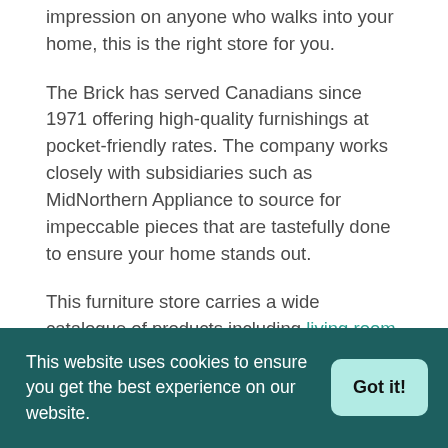impression on anyone who walks into your home, this is the right store for you.
The Brick has served Canadians since 1971 offering high-quality furnishings at pocket-friendly rates. The company works closely with subsidiaries such as MidNorthern Appliance to source for impeccable pieces that are tastefully done to ensure your home stands out.
This furniture store carries a wide catalogue of products including living room furniture, such as sectionals, recliners, loveseats, sofas and couches, as well as dining
This website uses cookies to ensure you get the best experience on our website. Got it!